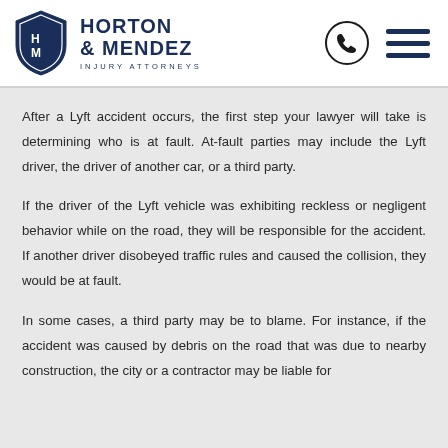[Figure (logo): Horton & Mendez Injury Attorneys logo with shield icon containing H and M letters, and firm name text]
After a Lyft accident occurs, the first step your lawyer will take is determining who is at fault. At-fault parties may include the Lyft driver, the driver of another car, or a third party.
If the driver of the Lyft vehicle was exhibiting reckless or negligent behavior while on the road, they will be responsible for the accident. If another driver disobeyed traffic rules and caused the collision, they would be at fault.
In some cases, a third party may be to blame. For instance, if the accident was caused by debris on the road that was due to nearby construction, the city or a contractor may be liable for